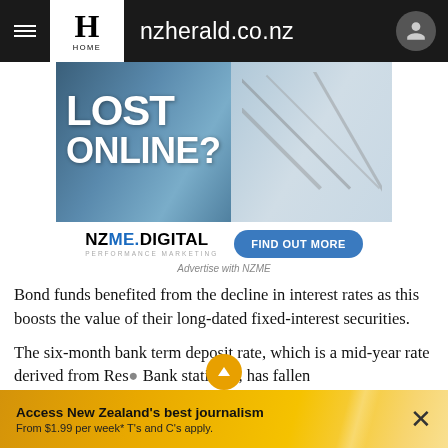nzherald.co.nz
[Figure (screenshot): Advertisement banner for NZME.Digital Performance Marketing with 'LOST ONLINE?' text overlay on blurred crowd image, with FIND OUT MORE button]
Advertise with NZME
Bond funds benefited from the decline in interest rates as this boosts the value of their long-dated fixed-interest securities.
The six-month bank term deposit rate, which is a mid-year rate derived from Res... Bank statistics, has fallen
Access New Zealand's best journalism From $1.99 per week* T's and C's apply.